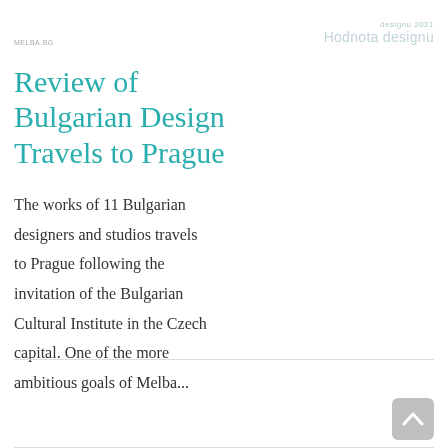MELBA.BG | designu 2021 Hodnota designu
Review of Bulgarian Design Travels to Prague
The works of 11 Bulgarian designers and studios travels to Prague following the invitation of the Bulgarian Cultural Institute in the Czech capital. One of the more ambitious goals of Melba...